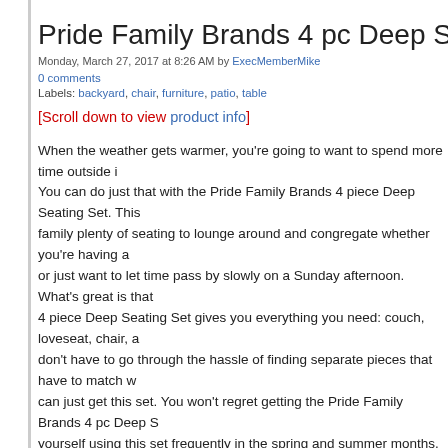Pride Family Brands 4 pc Deep Sea...
Monday, March 27, 2017 at 8:26 AM by ExecMemberMike
0 comments
Labels: backyard, chair, furniture, patio, table
[Scroll down to view product info]
When the weather gets warmer, you're going to want to spend more time outside i... You can do just that with the Pride Family Brands 4 piece Deep Seating Set. This family plenty of seating to lounge around and congregate whether you're having a or just want to let time pass by slowly on a Sunday afternoon. What's great is that 4 piece Deep Seating Set gives you everything you need: couch, loveseat, chair, a don't have to go through the hassle of finding separate pieces that have to match w can just get this set. You won't regret getting the Pride Family Brands 4 pc Deep S yourself using this set frequently in the spring and summer months.